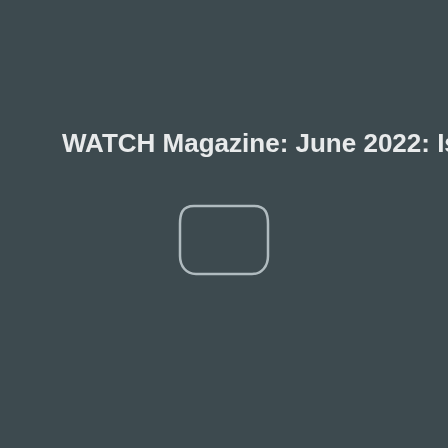WATCH Magazine: June 2022: Isabel May
[Figure (illustration): A rounded rectangle outline icon resembling a TV or monitor screen, drawn in light gray on a dark teal-gray background]